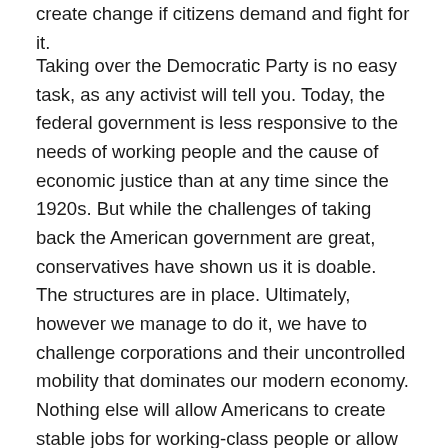create change if citizens demand and fight for it.
Taking over the Democratic Party is no easy task, as any activist will tell you. Today, the federal government is less responsive to the needs of working people and the cause of economic justice than at any time since the 1920s. But while the challenges of taking back the American government are great, conservatives have shown us it is doable. The structures are in place. Ultimately, however we manage to do it, we have to challenge corporations and their uncontrolled mobility that dominates our modern economy. Nothing else will allow Americans to create stable jobs for working-class people or allow people of the developing world to claw their way out of poverty.